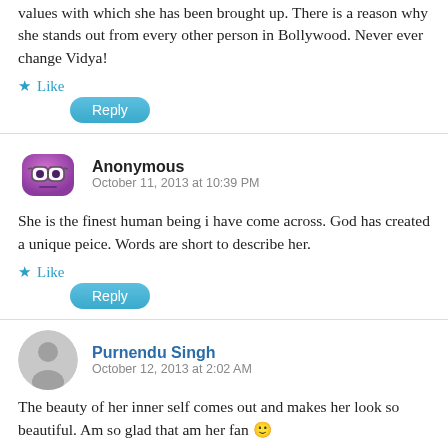values with which she has been brought up. There is a reason why she stands out from every other person in Bollywood. Never ever change Vidya!
★ Like
Reply
Anonymous
October 11, 2013 at 10:39 PM
She is the finest human being i have come across. God has created a unique peice. Words are short to describe her.
★ Like
Reply
Purnendu Singh
October 12, 2013 at 2:02 AM
The beauty of her inner self comes out and makes her look so beautiful. Am so glad that am her fan 🙂